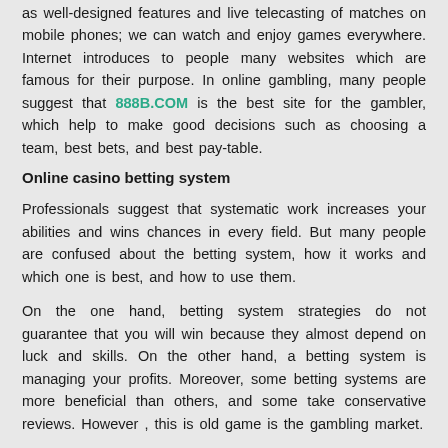as well-designed features and live telecasting of matches on mobile phones; we can watch and enjoy games everywhere. Internet introduces to people many websites which are famous for their purpose. In online gambling, many people suggest that 888B.COM is the best site for the gambler, which help to make good decisions such as choosing a team, best bets, and best pay-table.
Online casino betting system
Professionals suggest that systematic work increases your abilities and wins chances in every field. But many people are confused about the betting system, how it works and which one is best, and how to use them.
On the one hand, betting system strategies do not guarantee that you will win because they almost depend on luck and skills. On the other hand, a betting system is managing your profits. Moreover, some betting systems are more beneficial than others, and some take conservative reviews. However , this is old game is the gambling market.